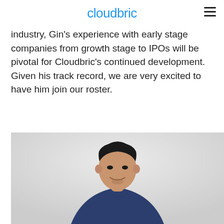cloudbric
industry, Gin's experience with early stage companies from growth stage to IPOs will be pivotal for Cloudbric's continued development. Given his track record, we are very excited to have him join our roster.
[Figure (photo): Professional photo of a man in a navy polo shirt with arms crossed, smiling, against a light gray background]